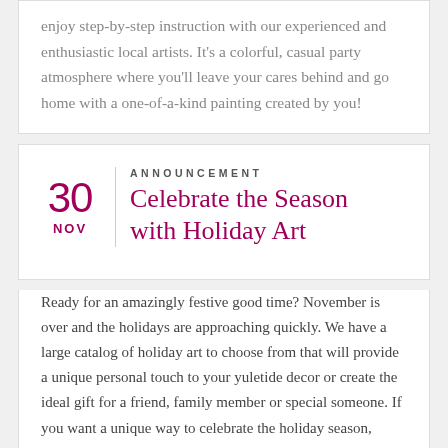enjoy step-by-step instruction with our experienced and enthusiastic local artists. It's a colorful, casual party atmosphere where you'll leave your cares behind and go home with a one-of-a-kind painting created by you!
ANNOUNCEMENT — 30 NOV — Celebrate the Season with Holiday Art
Ready for an amazingly festive good time? November is over and the holidays are approaching quickly. We have a large catalog of holiday art to choose from that will provide a unique personal touch to your yuletide decor or create the ideal gift for a friend, family member or special someone. If you want a unique way to celebrate the holiday season, come join us. Paint, sip and be merry!